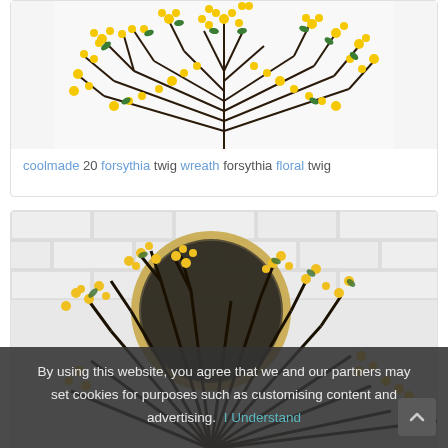[Figure (photo): Forsythia twig wreath with yellow flowers and green leaves on white background, top portion cropped]
coolmade 20 forsythia twig wreath forsythia floral twig
[Figure (photo): Forsythia branches with yellow flowers arranged in front of a round gold mirror against a white brick wall background]
By using this website, you agree that we and our partners may set cookies for purposes such as customising content and advertising.  I Understand